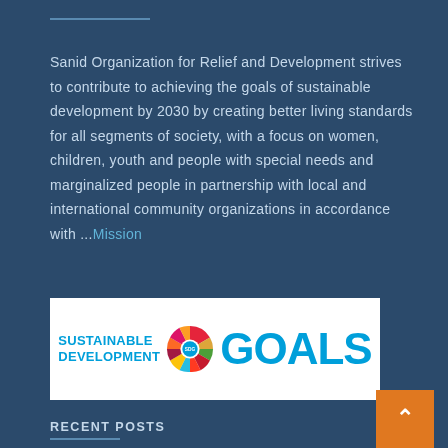Sanid Organization for Relief and Development strives to contribute to achieving the goals of sustainable development by 2030 by creating better living standards for all segments of society, with a focus on women, children, youth and people with special needs and marginalized people in partnership with local and international community organizations in accordance with ...Mission
[Figure (logo): UN Sustainable Development Goals logo showing 'SUSTAINABLE DEVELOPMENT GOALS' text with colorful wheel icon]
RECENT POSTS
[Figure (photo): Thumbnail image for World Day to Combat Desertification and post]
World Day to Combat Desertification and